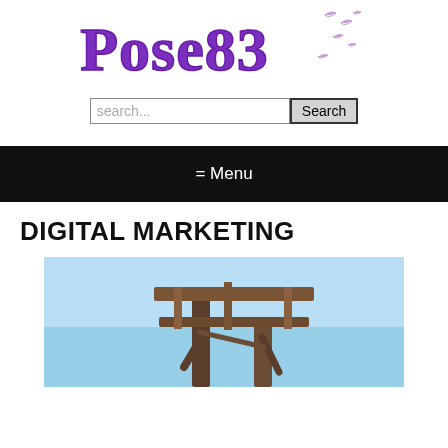Pose83
search...
= Menu
DIGITAL MARKETING
[Figure (photo): Outdoor billboard structure against a blue sky, showing a wooden/rustic billboard frame]